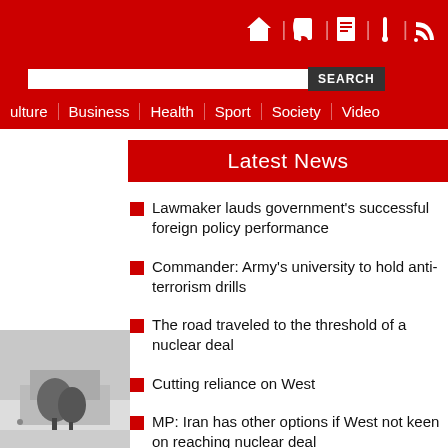Navigation: Culture | Business | Health | Sport | Society | Video | SEARCH
Latest News
against CBI
Lawmaker lauds government's successful foreign policy performance
Commander: Army's university to hold anti-terrorism drills
The road traveled to the threshold of a nuclear deal
Cutting reliance on West
MP: Iran has other options if West not keen on reaching nuclear deal
[Figure (photo): Partial photo showing outdoor scene with trees, bottom left corner]